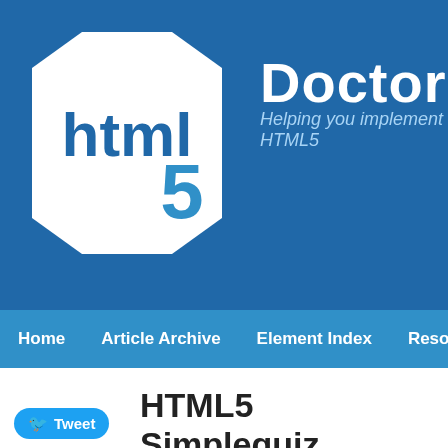[Figure (logo): html5 Doctor website logo with hexagon shape containing 'html5' text and 'Doctor' wordmark with tagline 'Helping you implement HTML5']
Home | Article Archive | Element Index | Resources
HTML5 Simplequiz people
Friday, October 8th, 2010 by Bruce Lawson.
Tweet
CATEGORY
Elements
Simplequiz
Structure
A few years ago, Dan Cederholm p… called Simplequiz in which he pose… a specified piece of content and inv…